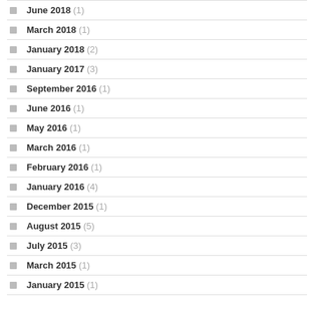June 2018 (1)
March 2018 (1)
January 2018 (2)
January 2017 (3)
September 2016 (1)
June 2016 (1)
May 2016 (1)
March 2016 (1)
February 2016 (1)
January 2016 (4)
December 2015 (1)
August 2015 (5)
July 2015 (3)
March 2015 (1)
January 2015 (1)